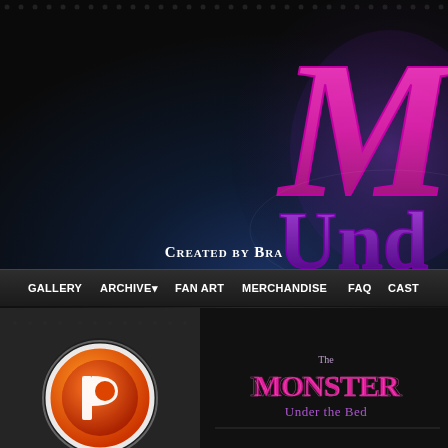[Figure (screenshot): Website header for 'The Monster Under the Bed' webcomic with dark dot-grid textured background, large stylized pink/purple 'M' and 'Under' logo text partially visible on right side, 'Created by Bra...' text below logo]
GALLERY   ARCHIVE   FAN ART   MERCHANDISE   FAQ   CAST
[Figure (logo): Orange circular Patreon-style logo mark in bottom left panel]
[Figure (logo): The Monster Under the Bed stylized text logo in pink/purple on dark background in bottom right panel]